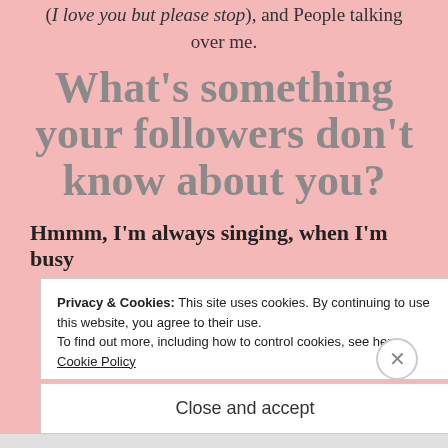(I love you but please stop), and People talking over me.
What's something your followers don't know about you?
Hmmm, I'm always singing, when I'm busy
Privacy & Cookies: This site uses cookies. By continuing to use this website, you agree to their use.
To find out more, including how to control cookies, see here: Cookie Policy
Close and accept